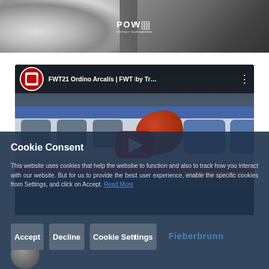[Figure (photo): Top banner photo showing snowy mountain landscape on the left and a bearded man's face on the right with POW logo in center]
[Figure (screenshot): YouTube video thumbnail for 'FWT21 Ordino Arcalis | FWT by Tr...' showing a train at a station with a skier, with YouTube play button overlay]
Cookie Consent
This website uses cookies that help the website to function and also to track how you interact with our website. But for us to provide the best user experience, enable the specific cookies from Settings, and click on Accept. Read More
Accept
Decline
Cookie Settings